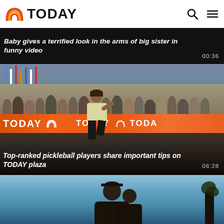TODAY
[Figure (screenshot): Video thumbnail with black background showing title overlay: Baby gives a terrified look in the arms of big sister in funny video, duration 00:36]
[Figure (photo): Photo of a woman playing pickleball on the TODAY plaza with crowd and orange TODAY banners in background. Title overlay: Top-ranked pickleball players share important tips on TODAY plaza, duration 06:28]
[Figure (photo): Partial photo showing a person outdoors against blue sky background, bottom portion of page]